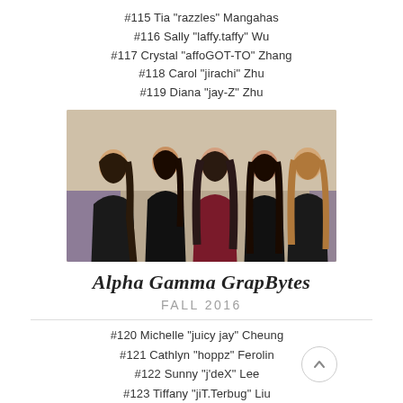#115 Tia "razzles" Mangahas
#116 Sally "laffy.taffy" Wu
#117 Crystal "affoGOT-TO" Zhang
#118 Carol "jirachi" Zhu
#119 Diana "jay-Z" Zhu
[Figure (photo): Group photo of five young women at a formal event, four wearing black dresses and one in a red dress, standing together in front of a light-colored backdrop with purple decorative elements.]
Alpha Gamma GrapBytes
FALL 2016
#120 Michelle "juicy jay" Cheung
#121 Cathlyn "hoppz" Ferolin
#122 Sunny "j'deX" Lee
#123 Tiffany "jiT.Terbug" Liu